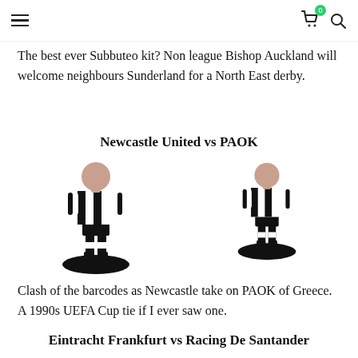Navigation header with hamburger menu, cart icon (badge: 0), and search icon
The best ever Subbuteo kit? Non league Bishop Auckland will welcome neighbours Sunderland for a North East derby.
Newcastle United vs PAOK
[Figure (illustration): Two Subbuteo figurines wearing black and white striped kits (Newcastle United / PAOK style), each on a black semi-circular base. Left figure is slightly larger/closer, right figure is slightly smaller. Both represent the classic Subbuteo player figure.]
Clash of the barcodes as Newcastle take on PAOK of Greece. A 1990s UEFA Cup tie if I ever saw one.
Eintracht Frankfurt vs Racing De Santander